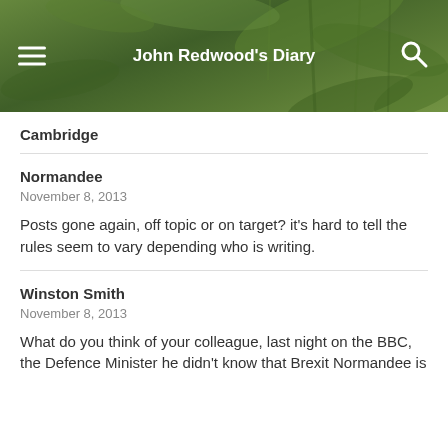John Redwood's Diary
Cambridge
Normandee
November 8, 2013
Posts gone again, off topic or on target? it's hard to tell the rules seem to vary depending who is writing.
Winston Smith
November 8, 2013
What do you think of your colleague, last night on the BBC, the Defence Minister he didn't know that Brexit Normandee is